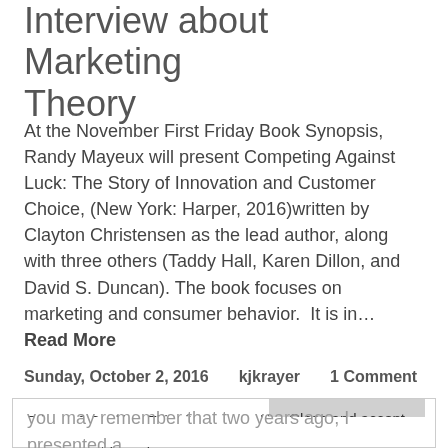Interview about Marketing Theory
At the November First Friday Book Synopsis, Randy Mayeux will present Competing Against Luck: The Story of Innovation and Customer Choice, (New York: Harper, 2016)written by Clayton Christensen as the lead author, along with three others (Taddy Hall, Karen Dillon, and David S. Duncan). The book focuses on marketing and consumer behavior.  It is in… Read More
Sunday, October 2, 2016   kjkrayer   1 Comment
Privacy & Cookies: This site uses cookies. By continuing to use this website, you agree to their use.
To find out more, including how to control cookies, see here: Cookie Policy
You may remember that two years ago, I presented a